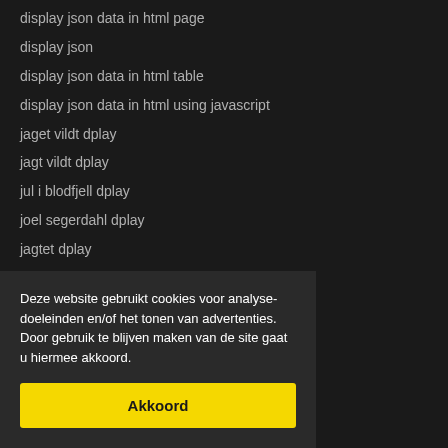display json data in html page
display json
display json data in html table
display json data in html using javascript
jaget vildt dplay
jagt vildt dplay
jul i blodfjell dplay
joel segerdahl dplay
jagtet dplay
jocke och jonna dplay
jocke och jonna spökjakt dplay
jocke jonna dplay kod
jocke jonna dplay
jlc dplay kod
dplay kanal 5
dplay kuttiadi
dplay kanaler
display key bmw
Deze website gebruikt cookies voor analyse-doeleinden en/of het tonen van advertenties. Door gebruik te blijven maken van de site gaat u hiermee akkoord.
Akkoord